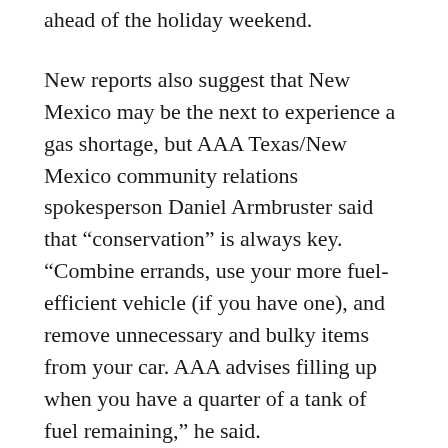ahead of the holiday weekend.
New reports also suggest that New Mexico may be the next to experience a gas shortage, but AAA Texas/New Mexico community relations spokesperson Daniel Armbruster said that “conservation” is always key. “Combine errands, use your more fuel-efficient vehicle (if you have one), and remove unnecessary and bulky items from your car. AAA advises filling up when you have a quarter of a tank of fuel remaining,” he said.
While there are still concerns about continued panic buying, skyrocketing fuel costs, and cyber hackers, what’s even worse is President Biden’s response to the crisis. Biden said that the FBI does not believe the Russian government is involved, but that investigators believe the hackers are based in Russia. He also